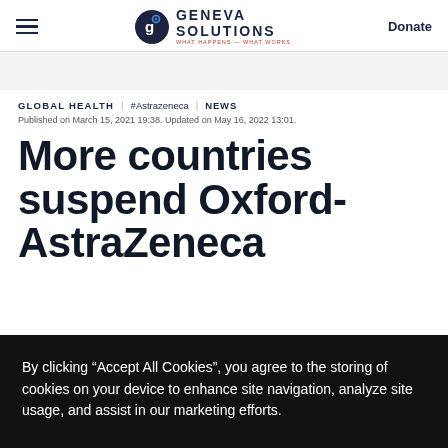Geneva Solutions — Donate
GLOBAL HEALTH | #Astrazeneca | NEWS
Published on March 15, 2021 19:38. Updated on May 16, 2022 13:01.
More countries suspend Oxford-AstraZeneca
By clicking “Accept All Cookies”, you agree to the storing of cookies on your device to enhance site navigation, analyze site usage, and assist in our marketing efforts.